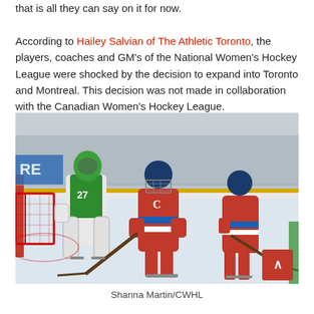that is all they can say on it for now. According to Hailey Salvian of The Athletic Toronto, the players, coaches and GM's of the National Women's Hockey League were shocked by the decision to expand into Toronto and Montreal. This decision was not made in collaboration with the Canadian Women's Hockey League.
[Figure (photo): Women's hockey game with players in red Montreal-style CWHL uniforms and a goalie in green/white. The players are positioned in front of the net on an ice rink.]
Shanna Martin/CWHL